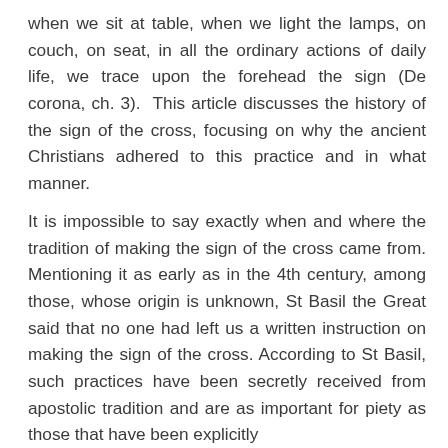when we sit at table, when we light the lamps, on couch, on seat, in all the ordinary actions of daily life, we trace upon the forehead the sign (De corona, ch. 3). This article discusses the history of the sign of the cross, focusing on why the ancient Christians adhered to this practice and in what manner.
It is impossible to say exactly when and where the tradition of making the sign of the cross came from. Mentioning it as early as in the 4th century, among those, whose origin is unknown, St Basil the Great said that no one had left us a written instruction on making the sign of the cross. According to St Basil, such practices have been secretly received from apostolic tradition and are as important for piety as those that have been explicitly